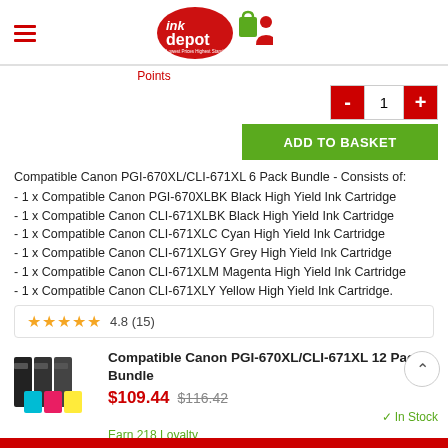[Figure (logo): Ink Depot logo with circular red background and shopping bag and user icons]
Points
1
ADD TO BASKET
Compatible Canon PGI-670XL/CLI-671XL 6 Pack Bundle - Consists of:
- 1 x Compatible Canon PGI-670XLBK Black High Yield Ink Cartridge
- 1 x Compatible Canon CLI-671XLBK Black High Yield Ink Cartridge
- 1 x Compatible Canon CLI-671XLC Cyan High Yield Ink Cartridge
- 1 x Compatible Canon CLI-671XLGY Grey High Yield Ink Cartridge
- 1 x Compatible Canon CLI-671XLM Magenta High Yield Ink Cartridge
- 1 x Compatible Canon CLI-671XLY Yellow High Yield Ink Cartridge.
4.8 (15)
[Figure (photo): Photo of Canon ink cartridge multipack bundle]
Compatible Canon PGI-670XL/CLI-671XL 12 Pack Bundle
$109.44 $116.42
✓ In Stock
Earn 218 Loyalty Points